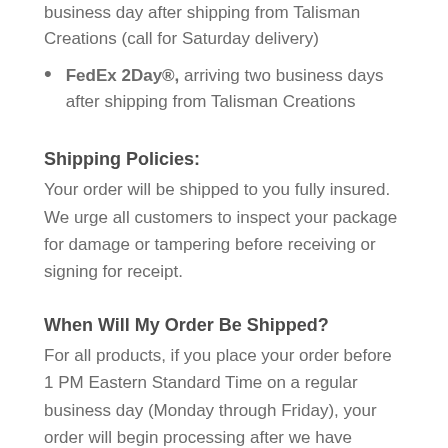business day after shipping from Talisman Creations (call for Saturday delivery)
FedEx 2Day®, arriving two business days after shipping from Talisman Creations
Shipping Policies:
Your order will be shipped to you fully insured. We urge all customers to inspect your package for damage or tampering before receiving or signing for receipt.
When Will My Order Be Shipped?
For all products, if you place your order before 1 PM Eastern Standard Time on a regular business day (Monday through Friday), your order will begin processing after we have received authorization for your credit card. If you place an order on a holiday or Sunday, your order will begin processing the